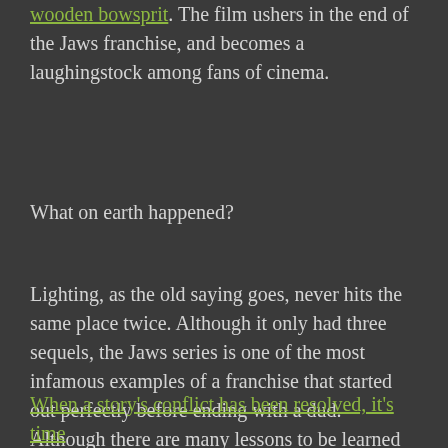wooden bowsprit. The film ushers in the end of the Jaws franchise, and becomes a laughingstock among fans of cinema.
What on earth happened?
Lighting, as the old saying goes, never hits the same place twice. Although it only had three sequels, the Jaws series is one of the most infamous examples of a franchise that started out perfectly before ending with a dud. Although there are many lessons to be learned from the series on how not to handle sequels, one lesson stands above the rest:
When a story's conflict has been resolved, it's time